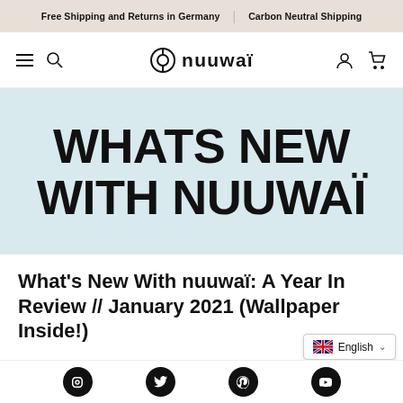Free Shipping and Returns in Germany | Carbon Neutral Shipping
[Figure (logo): nuuwaï brand logo with circular emblem and stylized lowercase text 'nuuwaï']
[Figure (illustration): Hero banner with light blue background and large bold text: WHATS NEW WITH NUUWAÏ]
What's New With nuuwaï: A Year In Review // January 2021 (Wallpaper Inside!)